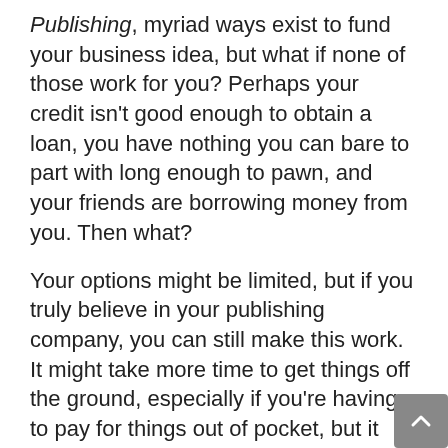Publishing, myriad ways exist to fund your business idea, but what if none of those work for you? Perhaps your credit isn't good enough to obtain a loan, you have nothing you can bare to part with long enough to pawn, and your friends are borrowing money from you. Then what?
Your options might be limited, but if you truly believe in your publishing company, you can still make this work. It might take more time to get things off the ground, especially if you're having to pay for things out of pocket, but it can still be done. Here are some additional ideas not mentioned by Tom and Marilyn Ross:
Refinance your car. Now, before you pass out because your 2000 Toyota Camry is almost paid for and you've been looking